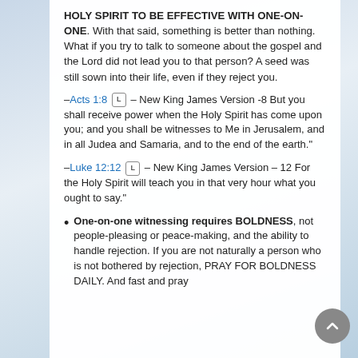HOLY SPIRIT TO BE EFFECTIVE WITH ONE-ON-ONE. With that said, something is better than nothing. What if you try to talk to someone about the gospel and the Lord did not lead you to that person? A seed was still sown into their life, even if they reject you.
–Acts 1:8 [L] – New King James Version -8 But you shall receive power when the Holy Spirit has come upon you; and you shall be witnesses to Me in Jerusalem, and in all Judea and Samaria, and to the end of the earth."
–Luke 12:12 [L] – New King James Version – 12 For the Holy Spirit will teach you in that very hour what you ought to say."
One-on-one witnessing requires BOLDNESS, not people-pleasing or peace-making, and the ability to handle rejection. If you are not naturally a person who is not bothered by rejection, PRAY FOR BOLDNESS DAILY. And fast and pray